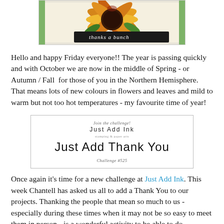[Figure (photo): Cropped photo of a handmade card featuring a colorful sunflower and the text 'Thanks a bunch']
Hello and happy Friday everyone!! The year is passing quickly and with October we are now in the middle of Spring - or Autumn / Fall  for those of you in the Northern Hemisphere. That means lots of new colours in flowers and leaves and mild to warm but not too hot temperatures - my favourite time of year!
[Figure (other): Just Add Ink challenge banner. Text reads: 'Join the challenge! Just Add Ink' with tagline, large text 'Just Add ThankYou', and 'Challenge #525' below.]
Once again it's time for a new challenge at Just Add Ink. This week Chantell has asked us all to add a Thank You to our projects. Thanking the people that mean so much to us - especially during these times when it may not be so easy to meet them in person - is a wonderful activity to be able to do